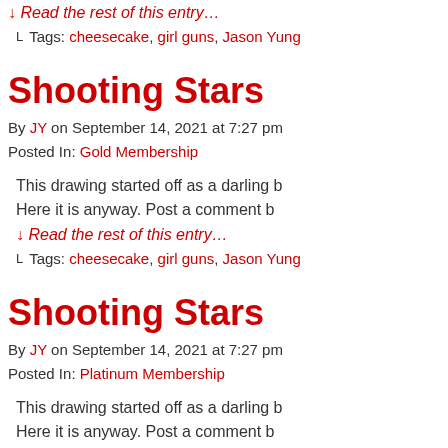↓ Read the rest of this entry…
⌐ Tags: cheesecake, girl guns, Jason Yung
Shooting Stars
By JY on September 14, 2021 at 7:27 pm
Posted In: Gold Membership
This drawing started off as a darling b...
Here it is anyway. Post a comment b...
↓ Read the rest of this entry…
⌐ Tags: cheesecake, girl guns, Jason Yung
Shooting Stars
By JY on September 14, 2021 at 7:27 pm
Posted In: Platinum Membership
This drawing started off as a darling b...
Here it is anyway. Post a comment b...
↓ Read the rest of this entry…
⌐ Tags: cheesecake, girl guns, Jason Yung